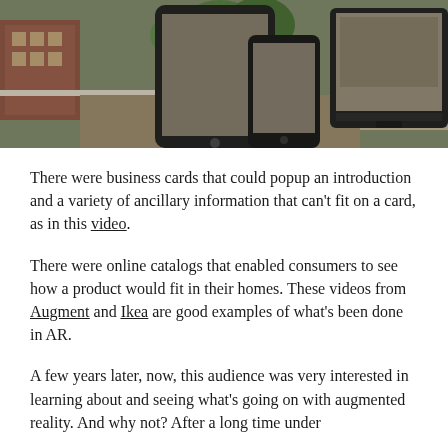[Figure (photo): Photo showing tablets, smartphones, and a monitor displaying augmented reality views of a historical street scene overlaid with modern device screens.]
There were business cards that could popup an introduction and a variety of ancillary information that can't fit on a card, as in this video.
There were online catalogs that enabled consumers to see how a product would fit in their homes. These videos from Augment and Ikea are good examples of what's been done in AR.
A few years later, now, this audience was very interested in learning about and seeing what's going on with augmented reality. And why not? After a long time under